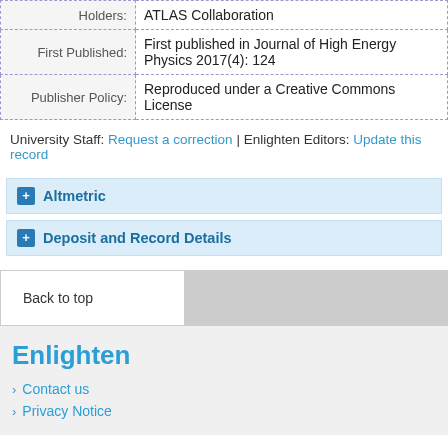| Label | Value |
| --- | --- |
| Holders: | ATLAS Collaboration |
| First Published: | First published in Journal of High Energy Physics 2017(4): 124 |
| Publisher Policy: | Reproduced under a Creative Commons License |
University Staff: Request a correction | Enlighten Editors: Update this record
Altmetric
Deposit and Record Details
Back to top
Enlighten
Contact us
Privacy Notice